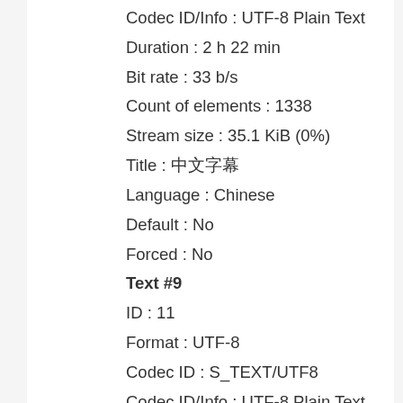Codec ID/Info : UTF-8 Plain Text
Duration : 2 h 22 min
Bit rate : 33 b/s
Count of elements : 1338
Stream size : 35.1 KiB (0%)
Title : 中文字幕
Language : Chinese
Default : No
Forced : No
Text #9
ID : 11
Format : UTF-8
Codec ID : S_TEXT/UTF8
Codec ID/Info : UTF-8 Plain Text
Duration : 2 h 21 min
Bit rate : 29 b/s
Count of elements : 1155
Stream size : 30.3 KiB (0%)